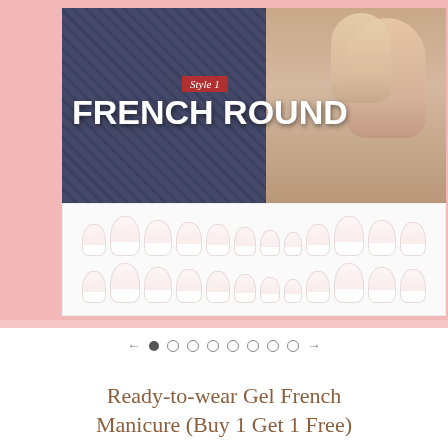[Figure (photo): Product image showing French Round press-on gel nails. Top portion shows a hand with nails on denim fabric background with text 'Style 1 FRENCH ROUND'. Bottom portion shows two rows of pink-white French manicure nail tips arranged by size on white background.]
← ● ○ ○ ○ ○ ○ ○ ○ →
Ready-to-wear Gel French Manicure (Buy 1 Get 1 Free)